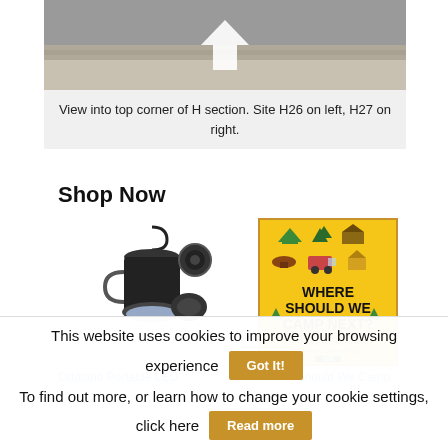[Figure (photo): View into top corner of H section campground road, showing pavement and surroundings, with a white arrow pointing down.]
View into top corner of H section. Site H26 on left, H27 on right.
Shop Now
[Figure (photo): Odoland Portable LED camping lantern product image showing black LED light with hook and attachments.]
[Figure (photo): Where Should We Camp Next? book cover, yellow background with camping icons.]
Odoland Portable LED
Where Should We Camp
This website uses cookies to improve your browsing experience
To find out more, or learn how to change your cookie settings, click here